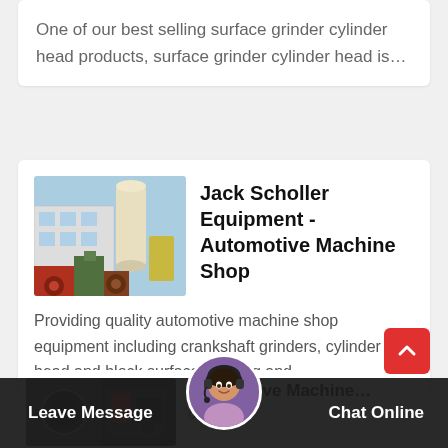One of our best selling surface grinder cylinder head products, surface grinder cylinder head is…
Jack Scholler Equipment - Automotive Machine Shop
[Figure (photo): Industrial machinery / grinding equipment in a factory setting]
Providing quality automotive machine shop equipment including crankshaft grinders, cylinder head and block surface grinding and…
[Figure (photo): Partial view of automotive machine shop equipment, dark/industrial]
Automotive Machine… or Sale…
Leave Message
[Figure (photo): Chat support avatar - woman with headset]
Chat Online